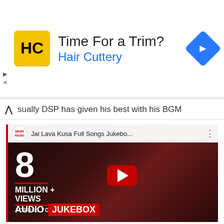[Figure (screenshot): Hair Cuttery advertisement banner with logo, 'Time For a Trim?' headline, 'Hair Cuttery' subtext in blue, and a blue navigation arrow icon on the right]
sually DSP has given his best with his BGM
[Figure (screenshot): YouTube video thumbnail for 'Jai Lava Kusa Full Songs Jukebo...' showing 8 MILLION+ VIEWS ACROSS YOUTUBE with three actors and AUDIO JUKEBOX label at the bottom, with a red YouTube play button overlay]
Lets checkout the lyrics: